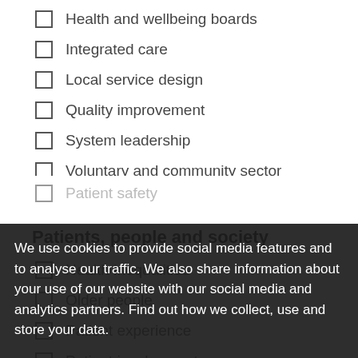Health and wellbeing boards
Integrated care
Local service design
Quality improvement
System leadership
Voluntary and community sector
Workforce and skills
Patients, people and society
Health inequalities
Older people
Patient experience
Patient involvement
Patient safety
We use cookies to provide social media features and to analyse our traffic. We also share information about your use of our website with our social media and analytics partners. Find out how we collect, use and store your data.